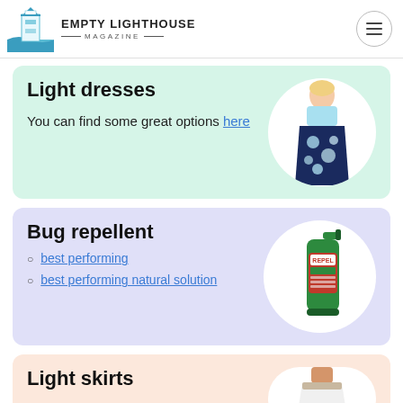Empty Lighthouse Magazine
Light dresses
You can find some great options here
[Figure (photo): Woman wearing a light blue and floral maxi dress]
Bug repellent
best performing
best performing natural solution
[Figure (photo): REPEL brand bug repellent spray bottle]
Light skirts
[Figure (photo): Person wearing a white light skirt]